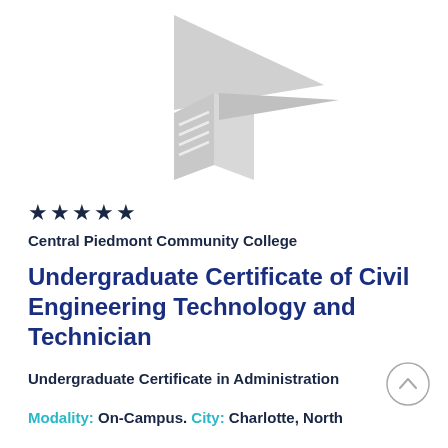[Figure (logo): Gray stylized open book / paper airplane logo mark on white background]
★★★★★
Central Piedmont Community College
Undergraduate Certificate of Civil Engineering Technology and Technician
Undergraduate Certificate in Administration
Modality: On-Campus. City: Charlotte, North